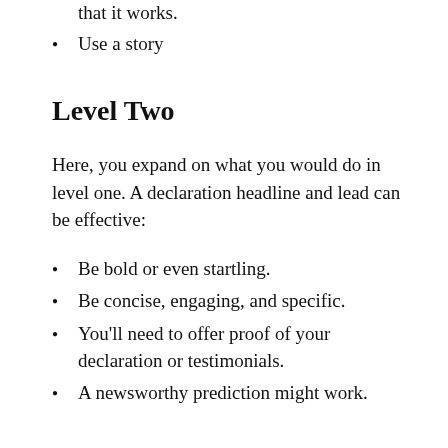that it works.
Use a story
Level Two
Here, you expand on what you would do in level one. A declaration headline and lead can be effective:
Be bold or even startling.
Be concise, engaging, and specific.
You'll need to offer proof of your declaration or testimonials.
A newsworthy prediction might work.